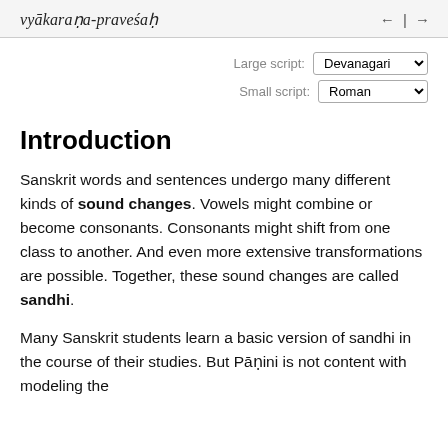vyākaraṇa-praveśaḥ ← | →
Large script: Devanagari  Small script: Roman
Introduction
Sanskrit words and sentences undergo many different kinds of sound changes. Vowels might combine or become consonants. Consonants might shift from one class to another. And even more extensive transformations are possible. Together, these sound changes are called sandhi.
Many Sanskrit students learn a basic version of sandhi in the course of their studies. But Pāṇini is not content with modeling the